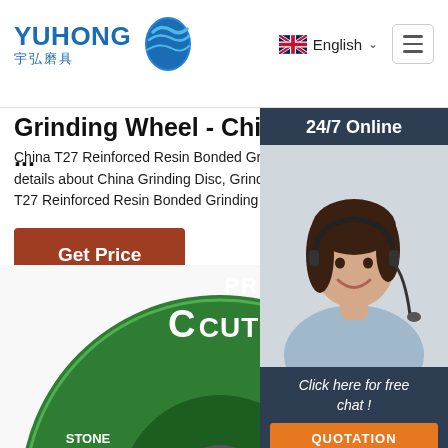YUHONG 宇弘磨具 | English | Menu
Grinding Wheel - China ...
China T27 Reinforced Resin Bonded Grinding details about China Grinding Disc, Grinding W T27 Reinforced Resin Bonded Grinding Whe
Get Price
[Figure (photo): Customer service representative with headset, 24/7 Online chat widget with QUOTATION button]
[Figure (photo): Green grinding wheel with PROFI CUTOP branding, TOP logo in bottom right, showing EASY FAST ACCURATE text at bottom]